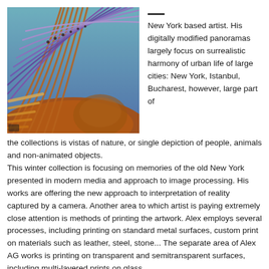[Figure (photo): A dramatic architectural interior photograph showing curved purple and orange structural ribs of a large building, with warm amber lighting along the base and cool blue-purple tones toward the ceiling. The perspective creates a sweeping tunnel-like effect.]
— New York based artist. His digitally modified panoramas largely focus on surrealistic harmony of urban life of large cities: New York, Istanbul, Bucharest, however, large part of the collections is vistas of nature, or single depiction of people, animals and non-animated objects.
This winter collection is focusing on memories of the old New York presented in modern media and approach to image processing. His works are offering the new approach to interpretation of reality captured by a camera. Another area to which artist is paying extremely close attention is methods of printing the artwork. Alex employs several processes, including printing on standard metal surfaces, custom print on materials such as leather, steel, stone... The separate area of Alex AG works is printing on transparent and semitransparent surfaces, including multi-layered prints on glass